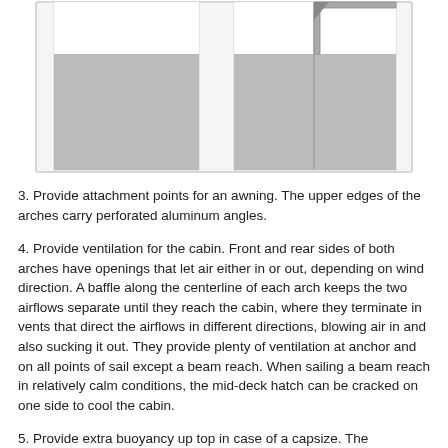[Figure (schematic): Technical schematic showing two panels side by side: left panel shows a rectangular cross-section with a gray filled rectangle, right panel shows a similar view with an angled metal bracket or channel at the top corner and a gray filled rectangle below. Both panels are enclosed in a light border.]
3. Provide attachment points for an awning. The upper edges of the arches carry perforated aluminum angles.
4. Provide ventilation for the cabin. Front and rear sides of both arches have openings that let air either in or out, depending on wind direction. A baffle along the centerline of each arch keeps the two airflows separate until they reach the cabin, where they terminate in vents that direct the airflows in different directions, blowing air in and also sucking it out. They provide plenty of ventilation at anchor and on all points of sail except a beam reach. When sailing a beam reach in relatively calm conditions, the mid-deck hatch can be cracked on one side to cool the cabin.
5. Provide extra buoyancy up top in case of a capsize. The